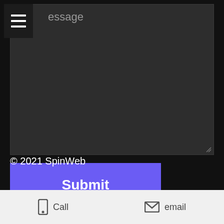[Figure (screenshot): Dark-themed web form textarea with placeholder text 'essage' visible and a hamburger menu icon overlay in the top-left corner]
Submit
© 2021 SpinWeb
Call
email